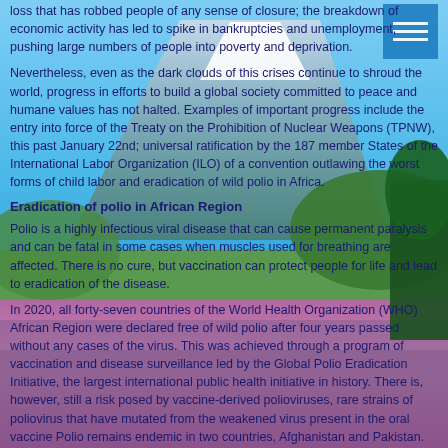[Figure (photo): Background photo of Mount Fuji with colorful flower fields and a crowd of people]
loss that has robbed people of any sense of closure; the breakdown of economic activity has led to spike in bankruptcies and unemployment, pushing large numbers of people into poverty and deprivation.
Nevertheless, even as the dark clouds of this crises continue to shroud the world, progress in efforts to build a global society committed to peace and humane values has not halted. Examples of important progress include the entry into force of the Treaty on the Prohibition of Nuclear Weapons (TPNW), this past January 22nd; universal ratification by the 187 member States of the International Labor Organization (ILO) of a convention outlawing the worst forms of child labor and eradication of wild polio in Africa.
Eradication of polio in African Region
Polio is a highly infectious viral disease that can cause permanent paralysis and can be fatal in some cases when muscles used for breathing are affected. There is no cure, but vaccination can protect people for life and lead to eradication of the disease.
In 2020, all forty-seven countries of the World Health Organization (WHO) African Region were declared free of wild polio after four years passed without any cases of the virus. This was achieved through a program of vaccination and disease surveillance led by the Global Polio Eradication Initiative, the largest international public health initiative in history. There is, however, still a risk posed by vaccine-derived polioviruses, rare strains of poliovirus that have mutated from the weakened virus present in the oral vaccine Polio remains endemic in two countries, Afghanistan and Pakistan.